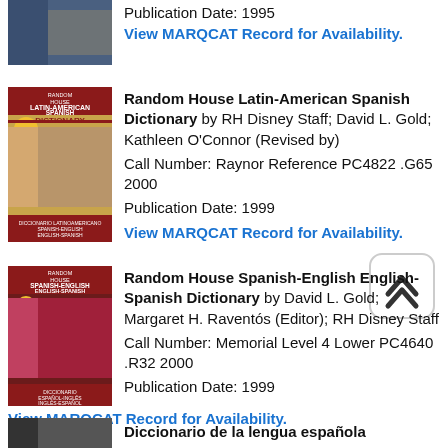Publication Date: 1995
View MARQCAT Record for Availability.
[Figure (illustration): Book cover thumbnail for Random House Latin-American Spanish Dictionary, partial view at top of page]
Random House Latin-American Spanish Dictionary by RH Disney Staff; David L. Gold; Kathleen O'Connor (Revised by)
Call Number: Raynor Reference PC4822 .G65 2000
Publication Date: 1999
View MARQCAT Record for Availability.
[Figure (illustration): Book cover for Random House Spanish-English English-Spanish Dictionary showing painting of a person in red]
Random House Spanish-English English-Spanish Dictionary by David L. Gold; Margaret H. Raventós (Editor); RH Disney Staff
Call Number: Memorial Level 4 Lower PC4640 .R32 2000
Publication Date: 1999
View MARQCAT Record for Availability.
[Figure (illustration): Book cover thumbnail for Diccionario de la lengua española, partial view at bottom]
Diccionario de la lengua española